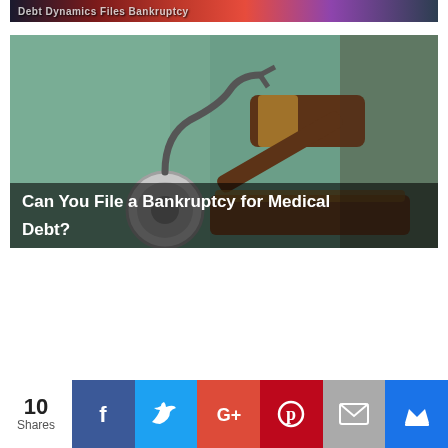[Figure (photo): Partial view of a banner image — text partially visible reading 'Debt Dynamics / Files Bankruptcy' or similar, on a dark colorful background with stock market imagery]
[Figure (photo): Photo of a judge's wooden gavel and a stethoscope on a teal/green medical scrubs background, representing medical debt and legal/bankruptcy concepts. Overlay text reads: 'Can You File a Bankruptcy for Medical Debt?']
Can You File a Bankruptcy for Medical Debt?
10 Shares
[Figure (infographic): Social sharing bar with share count of 10 Shares, and buttons for Facebook, Twitter, Google+, Pinterest, Email, and a crown/bookmark icon]